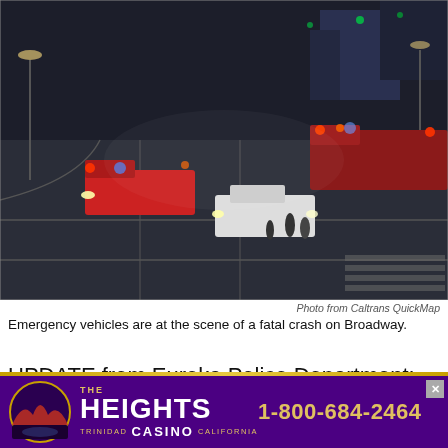[Figure (photo): Night aerial/overhead view from a traffic camera showing emergency vehicles at the scene of a fatal crash on Broadway. Multiple vehicles including fire trucks and police cars are visible at an intersection. The image is dark with vehicle headlights and street lights visible.]
Photo from Caltrans QuickMap
Emergency vehicles are at the scene of a fatal crash on Broadway.
UPDATE from Eureka Police Department: "On December 7, 2020, an autopsy was performed on the 62-year-old female who was pronounced deceased after the December 2, 2020 vehicle collision at Broadway and West Weber
[Figure (other): Advertisement for The Heights Casino in Trinidad, California. Purple background with gold text showing 1-800-684-2464 phone number and casino logo.]